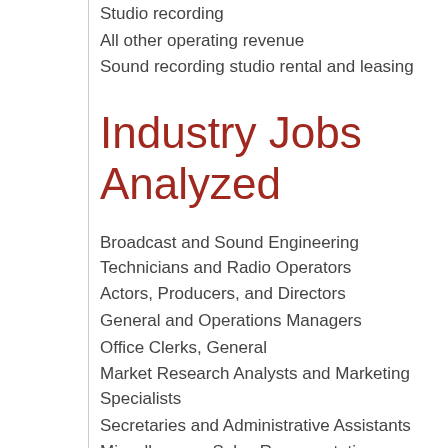Studio recording
All other operating revenue
Sound recording studio rental and leasing
Industry Jobs Analyzed
Broadcast and Sound Engineering Technicians and Radio Operators
Actors, Producers, and Directors
General and Operations Managers
Office Clerks, General
Market Research Analysts and Marketing Specialists
Secretaries and Administrative Assistants
Miscellaneous Sales Representatives, Services
Agents and Business Managers of Artists,